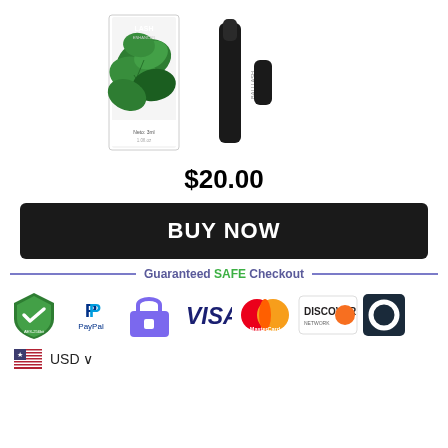[Figure (photo): Product photo of BALI LASH serum with green tropical leaf packaging box and black applicator pen]
$20.00
BUY NOW
Guaranteed SAFE Checkout
[Figure (infographic): Payment method icons: AES-256bit, PayPal, Secure (Powered by Stripe), VISA, MasterCard, Discover Network, and another card icon]
USD